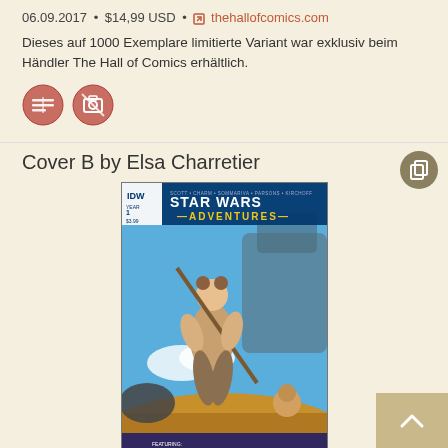06.09.2017 • $14,99 USD • thehallofcomics.com
Dieses auf 1000 Exemplare limitierte Variant war exklusiv beim Händler The Hall of Comics erhältlich.
[Figure (illustration): Two circular badge/icon images with red/rose coloring indicating status]
Cover B by Elsa Charretier
[Figure (illustration): Star Wars Adventures #1 comic book cover art by Elsa Charretier featuring Rey running with a staff, IDW Publishing, desert scene with spacecraft]